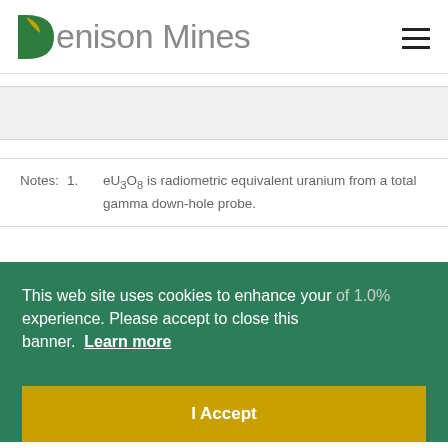Denison Mines
Notes: 1. eU3O8 is radiometric equivalent uranium from a total gamma down-hole probe.
This web site uses cookies to enhance your experience. Please accept to close this banner. Learn more
of 1.0%
3. Composited above a cutoff grade of 0.05%
Qualified Person